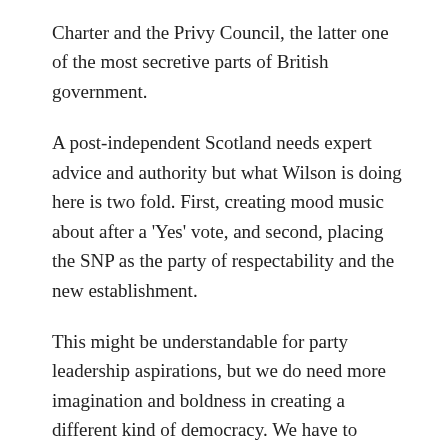Charter and the Privy Council, the latter one of the most secretive parts of British government.
A post-independent Scotland needs expert advice and authority but what Wilson is doing here is two fold. First, creating mood music about after a 'Yes' vote, and second, placing the SNP as the party of respectability and the new establishment.
This might be understandable for party leadership aspirations, but we do need more imagination and boldness in creating a different kind of democracy. We have to move beyond the committees of the great and good who have for so long clogged up public life, and its more modern version of 'civic Scotland', both of which have been characterised by an entitlement culture of self-preservation and maintaining their status in public life.